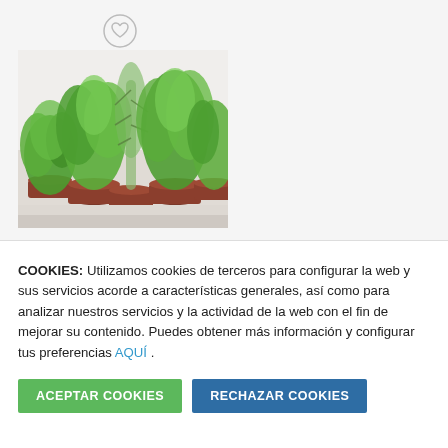[Figure (photo): Photo of several herb plants in terracotta pots on a white surface, with green basil, rosemary, and other herbs visible. A heart/wishlist icon appears above the image.]
COOKIES: Utilizamos cookies de terceros para configurar la web y sus servicios acorde a características generales, así como para analizar nuestros servicios y la actividad de la web con el fin de mejorar su contenido. Puedes obtener más información y configurar tus preferencias AQUÍ .
ACEPTAR COOKIES
RECHAZAR COOKIES